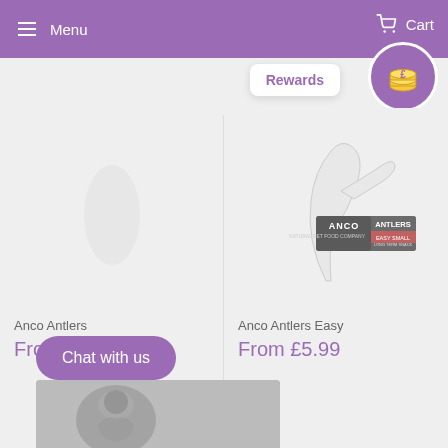Menu | Cart | Rewards
[Figure (screenshot): Anco Antlers product image - white antler with ANCO branding not visible (left product)]
[Figure (screenshot): Anco Antlers Easy product image - white curved antler with ANCO ANTLERS Easy Small packaging label]
Anco Antlers
From £6.50
Anco Antlers Easy
From £5.99
Chat with us
[Figure (photo): Partial product image at bottom of page, appears to be a dog or animal photo in grey tones]